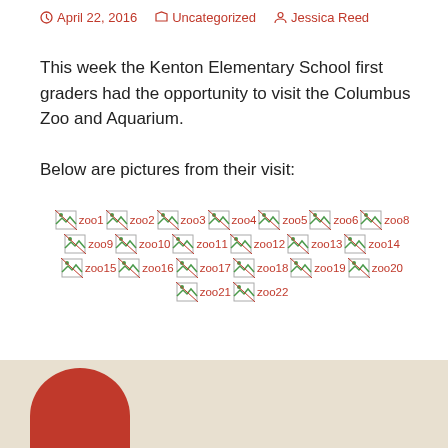April 22, 2016   Uncategorized   Jessica Reed
This week the Kenton Elementary School first graders had the opportunity to visit the Columbus Zoo and Aquarium.
Below are pictures from their visit:
[Figure (other): Grid of broken image thumbnails labeled zoo1 through zoo22, showing missing/broken image icons with alt text names]